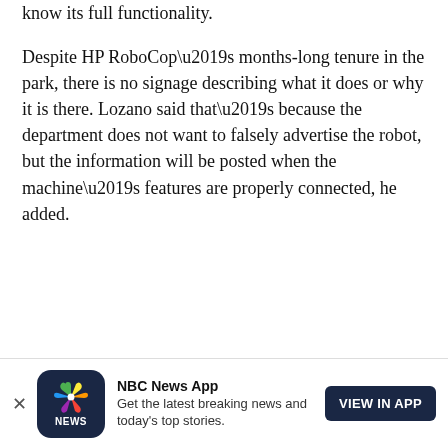know its full functionality.
Despite HP RoboCop’s months-long tenure in the park, there is no signage describing what it does or why it is there. Lozano said that’s because the department does not want to falsely advertise the robot, but the information will be posted when the machine’s features are properly connected, he added.
NBC News App  Get the latest breaking news and today’s top stories.  VIEW IN APP